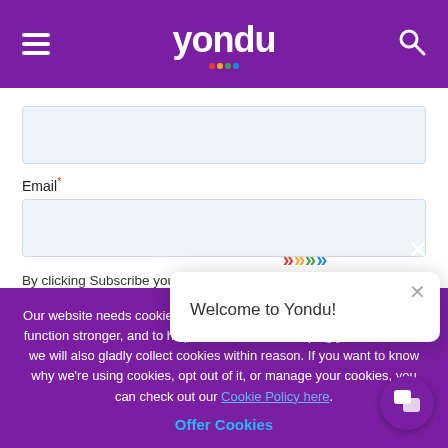yondu
[Figure (screenshot): Input form field (text box, empty, light blue-grey background)]
Email*
[Figure (screenshot): Email input form field (text box, empty, light blue-grey background)]
By clicking Subscribe you are aware of and agree to the user rights in the processing of personal data as
Our website needs cookies and similar technologies to perform better, function stronger, and to help us know if we're helping you. Of course, we will also gladly collect cookies within reason. If you want to know why we're using cookies, opt out of it, or manage your cookies, you can check out our Cookie Policy here.
Offer Cookies
[Figure (screenshot): Welcome to Yondu! chat popup with close button and coloured arrow decorations]